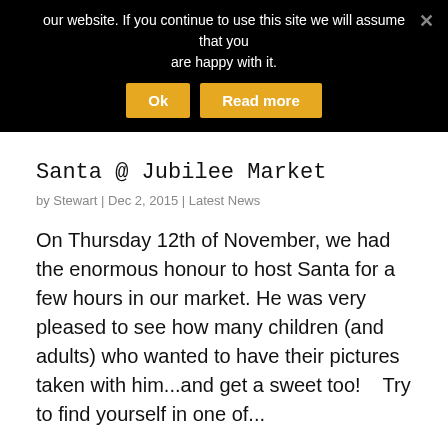our website. If you continue to use this site we will assume that you are happy with it.
On Thursday 12th of November, we had the enormous honour to host Santa for a few hours in our market. He was very pleased to see how many children (and adults) who wanted to have their pictures taken with him...and get a sweet too!    Try to find yourself in one of...